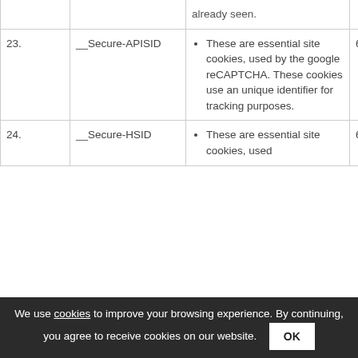| # | Cookie Name | Description | Duration | Provider |
| --- | --- | --- | --- | --- |
|  |  | already seen. |  |  |
| 23. | __Secure-APISID | These are essential site cookies, used by the google reCAPTCHA. These cookies use an unique identifier for tracking purposes. | 6 months | Cook
Prov
Goog |
| 24. | __Secure-HSID | These are essential site cookies... | 6 months | Cook
Prov
... |
We use cookies to improve your browsing experience. By continuing, you agree to receive cookies on our website.